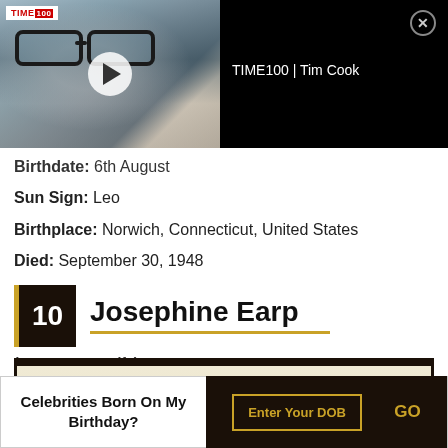[Figure (screenshot): Video overlay showing TIME100 | Tim Cook video with thumbnail of man wearing glasses and play button]
Birthdate: 6th August
Sun Sign: Leo
Birthplace: Norwich, Connecticut, United States
Died: September 30, 1948
10  Josephine Earp
(Wyatt Earp's wife)
[Figure (photo): Old photograph strip, partially visible, cream/yellow aged paper with dark border]
Celebrities Born On My Birthday?
Enter Your DOB
GO